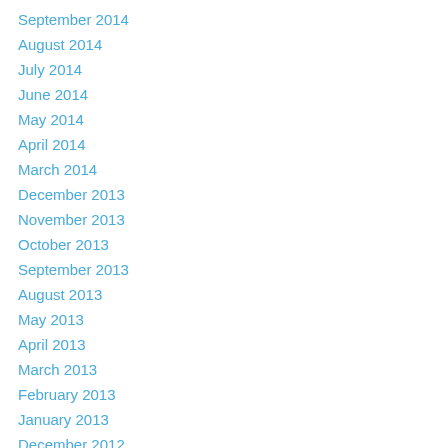September 2014
August 2014
July 2014
June 2014
May 2014
April 2014
March 2014
December 2013
November 2013
October 2013
September 2013
August 2013
May 2013
April 2013
March 2013
February 2013
January 2013
December 2012
November 2012
October 2012